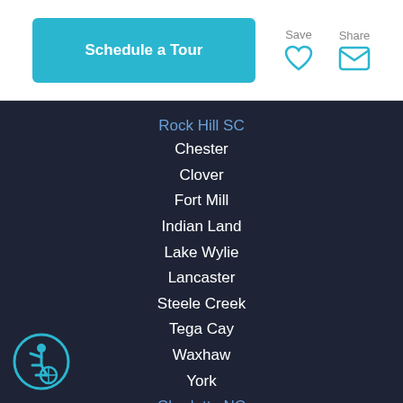Schedule a Tour
Save
Share
Rock Hill SC
Chester
Clover
Fort Mill
Indian Land
Lake Wylie
Lancaster
Steele Creek
Tega Cay
Waxhaw
York
Charlotte NC
Ballantyne
Eastover
Gastonia
[Figure (illustration): Wheelchair accessibility icon — circular teal outline with a stylized wheelchair user figure inside]